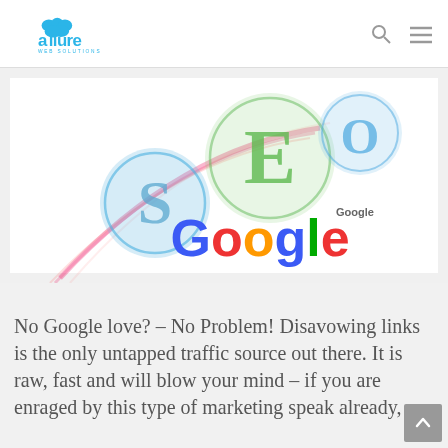[Figure (logo): Allure Web Solutions logo in blue]
[Figure (illustration): SEO themed illustration with colorful 3D letters S, E, O and Google logo]
No Google love? – No Problem! Disavowing links is the only untapped traffic source out there. It is raw, fast and will blow your mind – if you are enraged by this type of marketing speak already,